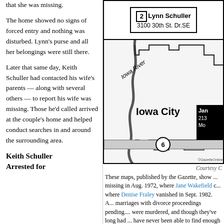that she was missing.
The home showed no signs of forced entry and nothing was disturbed. Lynn’s purse and all her belongings were still there.
Later that same day, Keith Schuller had contacted his wife’s parents — along with several others — to report his wife was missing. Those he’d called arrived at the couple’s home and helped conduct searches in and around the surrounding area.
Keith Schuller
Arrested for
[Figure (map): Map showing Lynn Schuller address: 3100 30th St. Dr. SE with a circled number 2]
[Figure (map): Map of Iowa City area showing Iowa River, route 6, with a black box showing Jan... 213... Mo... in the upper right]
Courtesy C
These maps, published by the Gazette, show ... missing in Aug. 1972, where Jane Wakefield c... where Denise Fraley vanished in Sept. 1982. A... marriages with divorce proceedings pending.... were murdered, and though they’ve long had ... have never been able to find enough evidenc... charge any of the suspects with murder.